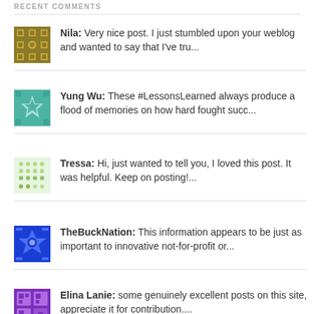RECENT COMMENTS
Nila: Very nice post. I just stumbled upon your weblog and wanted to say that I've tru...
Yung Wu: These #LessonsLearned always produce a flood of memories on how hard fought succ...
Tressa: Hi, just wanted to tell you, I loved this post. It was helpful. Keep on posting!...
TheBuckNation: This information appears to be just as important to innovative not-for-profit or...
Elina Lanie: some genuinely excellent posts on this site, appreciate it for contribution....
Trena Miskovich: Thanks for this information it